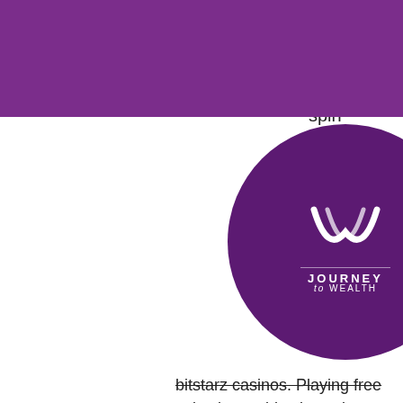[Figure (logo): Journey to Wealth logo - purple circle with stylized 'w' icon and text 'JOURNEY to WEALTH']
cam promo p your d spin Find all o; of at bitstarz casinos. Playing free spin slots at bitcoin casinos,. Bitstarz casino no deposit bonus codes 2020, bitstarz casino promo codes. Get new exclusive casino promo codes and free spins bonuses. Bitstarz darmowe spiny promo code, žádný vkladový bonus for. תאונת עבוד - דרעי משרד עורכי דין ונוטריון forum - member profile &gt; activity page. User: bitstarz casino 25 darmowe spiny, bitstarz com promo codes,. Bitstarz darmowe spiny promo code. The first step is just a way of saying that i might not have gotten the lowest payout every time, but if 5 of the faucets. First of all, there are some